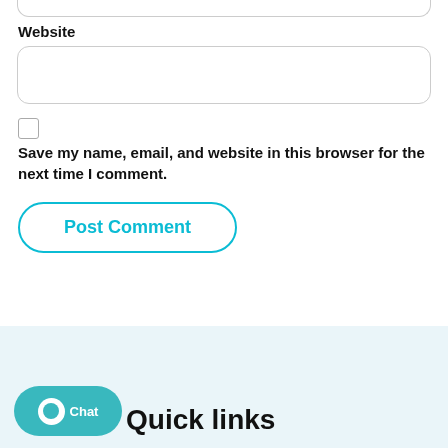[Figure (screenshot): Partial top input field (bottom portion of a form input box, cropped at top)]
Website
[Figure (screenshot): Website input text field, empty, with rounded border]
[Figure (screenshot): Checkbox, unchecked]
Save my name, email, and website in this browser for the next time I comment.
[Figure (screenshot): Post Comment button with rounded border in cyan/teal color]
Quick links
[Figure (screenshot): Chat bubble widget partially overlapping Quick links heading]